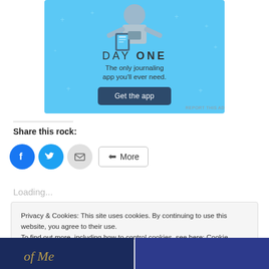[Figure (illustration): Day One journaling app advertisement with blue background. Shows 'DAY ONE' title and tagline 'The only journaling app you'll ever need.' with a 'Get the app' button.]
REPORT THIS AD
Share this rock:
[Figure (other): Social share buttons: Facebook (blue circle), Twitter (blue circle), Email (grey circle), and More button]
Loading...
Privacy & Cookies: This site uses cookies. By continuing to use this website, you agree to their use.
To find out more, including how to control cookies, see here: Cookie Policy
[Figure (photo): Two partially visible images at the bottom of the page with dark blue tones]